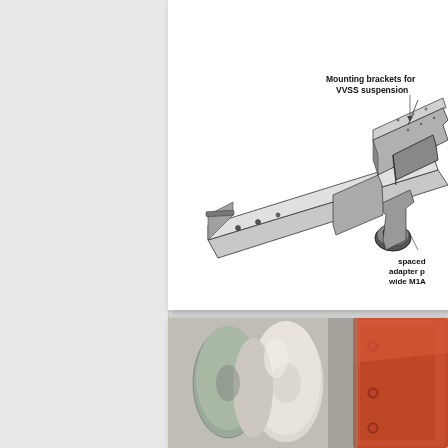[Figure (engineering-diagram): Technical illustration of a tank hull component showing mounting brackets for VVSS suspension and a spaced adapter plate for wide M1A track. Black and white line drawing with labeled callouts.]
[Figure (photo): Color photograph showing scale model or actual tank components including cylindrical rolls and a terracotta/orange-brown vehicle hull section with rivets or bolts visible.]